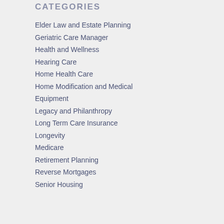CATEGORIES
Elder Law and Estate Planning
Geriatric Care Manager
Health and Wellness
Hearing Care
Home Health Care
Home Modification and Medical Equipment
Legacy and Philanthropy
Long Term Care Insurance
Longevity
Medicare
Retirement Planning
Reverse Mortgages
Senior Housing